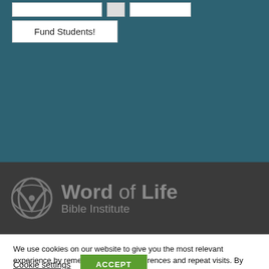[Figure (screenshot): Top teal/blue-green background section of a website with two white input boxes and a 'Fund Students!' button]
Fund Students!
[Figure (logo): Word of Life Bible Institute logo on dark gray banner — stylized W icon with text 'Word of Life Bible Institute']
We use cookies on our website to give you the most relevant experience by remembering your preferences and repeat visits. By clicking “Accept”, you consent to the use of ALL the cookies.
Cookie settings
ACCEPT